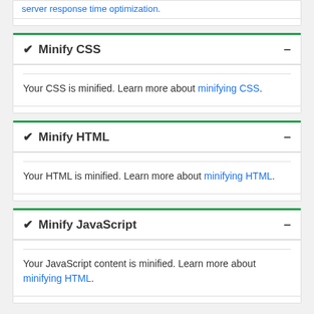server response time optimization.
✔ Minify CSS −
Your CSS is minified. Learn more about minifying CSS.
✔ Minify HTML −
Your HTML is minified. Learn more about minifying HTML.
✔ Minify JavaScript −
Your JavaScript content is minified. Learn more about minifying HTML.